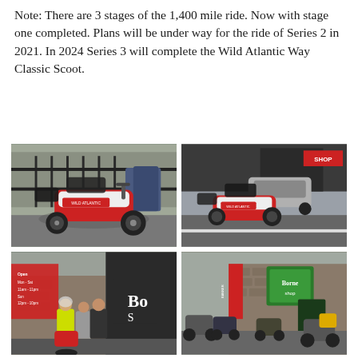Note: There are 3 stages of the 1,400 mile ride. Now with stage one completed. Plans will be under way for the ride of Series 2 in 2021. In 2024 Series 3 will complete the Wild Atlantic Way Classic Scoot.
[Figure (photo): A loaded classic scooter (red and white) parked on a wet street, viewed from the left side, with luggage strapped on, fence and bins in background.]
[Figure (photo): A loaded classic scooter (red and white) on a road in a town, viewed from the front-left, with cars and shops in background.]
[Figure (photo): Three people in motorcycle gear standing outside a building with a red banner sign reading 'Bo S', with a classic red scooter partially visible.]
[Figure (photo): Multiple motorcycles and scooters parked outside a stone building with a green Borne Shop sign, yellow luggage visible.]